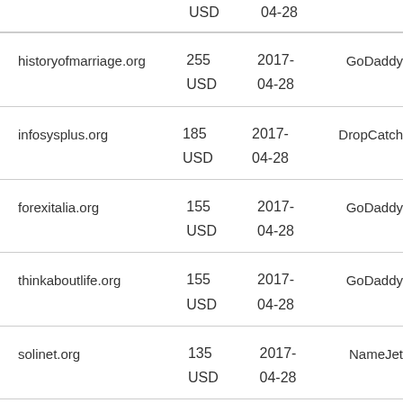| Domain | Price | Date | Registrar |
| --- | --- | --- | --- |
|  | USD | 04-28 |  |
| historyofmarriage.org | 255 USD | 2017-04-28 | GoDaddy |
| infosysplus.org | 185 USD | 2017-04-28 | DropCatch |
| forexitalia.org | 155 USD | 2017-04-28 | GoDaddy |
| thinkaboutlife.org | 155 USD | 2017-04-28 | GoDaddy |
| solinet.org | 135 USD | 2017-04-28 | NameJet |
| bestgamblingonline.org | 114 USD | 2017-04-28 | Flippa |
| vigilanthose.org | 102 USD | 2017-04-28 | GoDaddy |